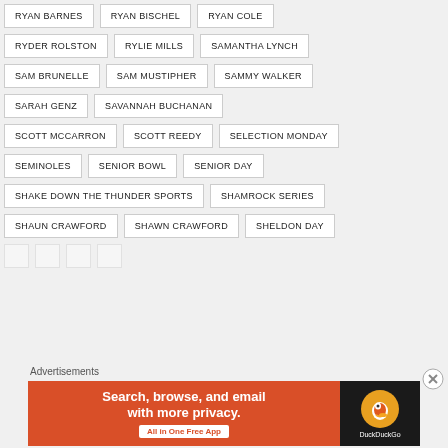RYAN BARNES
RYAN BISCHEL
RYAN COLE
RYDER ROLSTON
RYLIE MILLS
SAMANTHA LYNCH
SAM BRUNELLE
SAM MUSTIPHER
SAMMY WALKER
SARAH GENZ
SAVANNAH BUCHANAN
SCOTT MCCARRON
SCOTT REEDY
SELECTION MONDAY
SEMINOLES
SENIOR BOWL
SENIOR DAY
SHAKE DOWN THE THUNDER SPORTS
SHAMROCK SERIES
SHAUN CRAWFORD
SHAWN CRAWFORD
SHELDON DAY
Advertisements
[Figure (other): DuckDuckGo advertisement banner: Search, browse, and email with more privacy. All in One Free App]